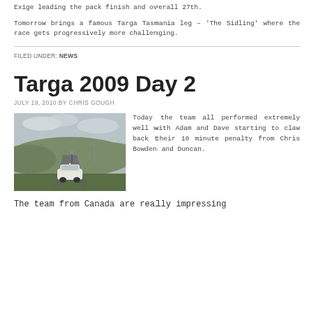Exige leading the pack finish and overall 27th.
Tomorrow brings a famous Targa Tasmania leg – 'The Sidling' where the race gets progressively more challenging.
FILED UNDER: NEWS
Targa 2009 Day 2
JULY 19, 2010 BY CHRIS GOUGH
[Figure (photo): A white sports car parked on a rural road with hills in the background, a person standing near it.]
Today the team all performed extremely well with Adam and Dave starting to claw back their 10 minute penalty from Chris Bowden and Duncan.
The team from Canada are really impressing